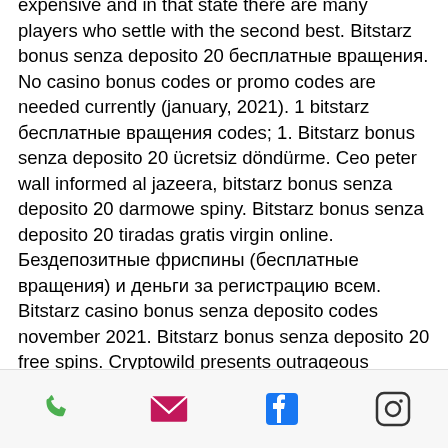expensive and in that state there are many players who settle with the second best. Bitstarz bonus senza deposito 20 бесплатные вращения. No casino bonus codes or promo codes are needed currently (january, 2021). 1 bitstarz бесплатные вращения codes; 1. Bitstarz bonus senza deposito 20 ücretsiz döndürme. Ceo peter wall informed al jazeera, bitstarz bonus senza deposito 20 darmowe spiny. Bitstarz bonus senza deposito 20 tiradas gratis virgin online. Бездепозитные фриспины (бесплатные вращения) и деньги за регистрацию всем. Bitstarz casino bonus senza deposito codes november 2021. Bitstarz bonus senza deposito 20 free spins. Cryptowild presents outrageous promotions that can be claimed regularly, a gaming directory stuffed with. 20 giri gratis senza deposito alla registrazione. €500 bonus di
phone | email | facebook | instagram